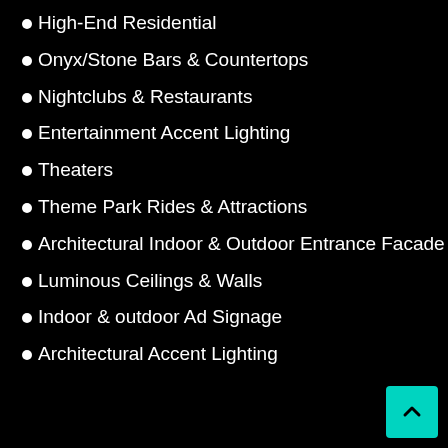High-End Residential
Onyx/Stone Bars & Countertops
Nightclubs & Restaurants
Entertainment Accent Lighting
Theaters
Theme Park Rides & Attractions
Architectural Indoor & Outdoor Entrance Facade
Luminous Ceilings & Walls
Indoor & outdoor Ad Signage
Architectural Accent Lighting